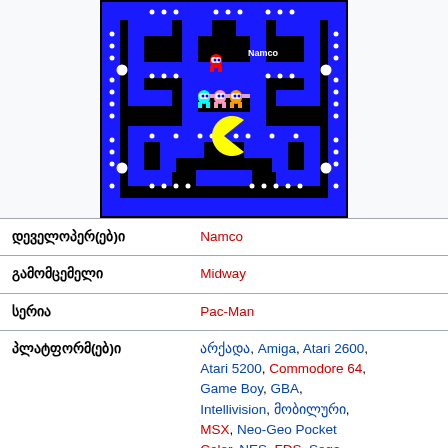[Figure (screenshot): Pac-Man arcade game screenshot showing blue maze with white dots, Pac-Man character (yellow) and ghosts (cyan, pink, orange) on black background with Namco text]
| დეველოპერ(ებ)ი | Namco |
| გამომცემელი | Midway |
| სერია | Pac-Man |
| პლატფორმ(ებ)ი | არქადა, Amiga, Atari 2600, Atari 5200, Commodore 64, Game Boy, GBA, Intellivision, მობილური, MSX, Neo-Geo Pocket Color, NES, FDS, Sega |